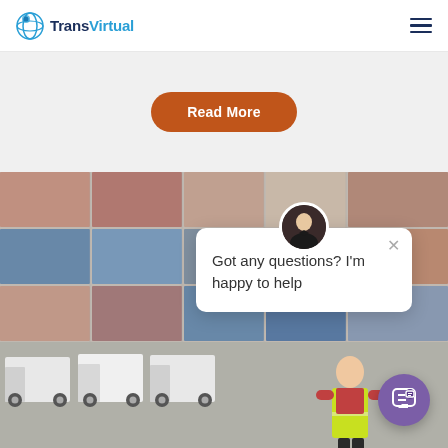[Figure (logo): TransVirtual logo with globe icon and two-tone text]
Read More
[Figure (photo): Stacked shipping containers and white delivery trucks with a worker in a yellow safety vest, with a chat popup overlay showing 'Got any questions? I'm happy to help']